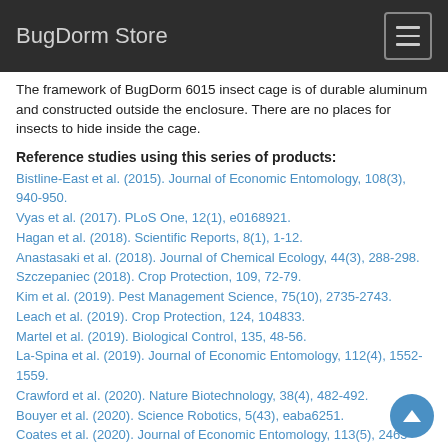BugDorm Store
The framework of BugDorm 6015 insect cage is of durable aluminum and constructed outside the enclosure. There are no places for insects to hide inside the cage.
Reference studies using this series of products:
Bistline-East et al. (2015). Journal of Economic Entomology, 108(3), 940-950.
Vyas et al. (2017). PLoS One, 12(1), e0168921.
Hagan et al. (2018). Scientific Reports, 8(1), 1-12.
Anastasaki et al. (2018). Journal of Chemical Ecology, 44(3), 288-298.
Szczepaniec (2018). Crop Protection, 109, 72-79.
Kim et al. (2019). Pest Management Science, 75(10), 2735-2743.
Leach et al. (2019). Crop Protection, 124, 104833.
Martel et al. (2019). Biological Control, 135, 48-56.
La-Spina et al. (2019). Journal of Economic Entomology, 112(4), 1552-1559.
Crawford et al. (2020). Nature Biotechnology, 38(4), 482-492.
Bouyer et al. (2020). Science Robotics, 5(43), eaba6251.
Coates et al. (2020). Journal of Economic Entomology, 113(5), 2465-2472.